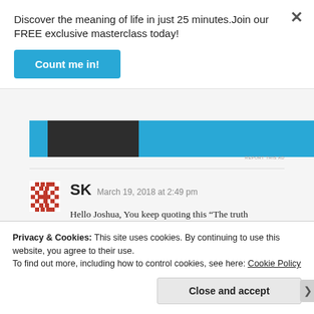Discover the meaning of life in just 25 minutes.Join our FREE exclusive masterclass today!
[Figure (other): Blue 'Count me in!' CTA button]
[Figure (other): Advertisement banner with blue and dark sections]
REPORT THIS AD
SK  March 19, 2018 at 2:49 pm
Hello Joshua, You keep quoting this “The truth is that they rest of the dead, including all the
Privacy & Cookies: This site uses cookies. By continuing to use this website, you agree to their use.
To find out more, including how to control cookies, see here: Cookie Policy
Close and accept